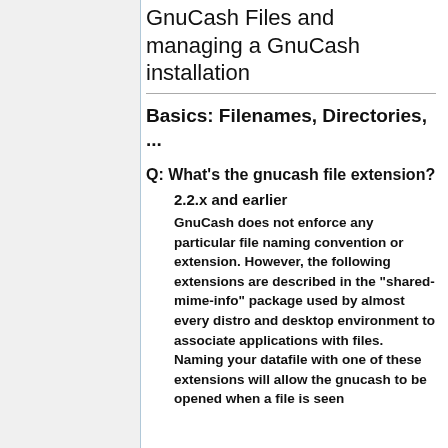GnuCash Files and managing a GnuCash installation
Basics: Filenames, Directories, ...
Q: What's the gnucash file extension?
2.2.x and earlier
GnuCash does not enforce any particular file naming convention or extension. However, the following extensions are described in the "shared-mime-info" package used by almost every distro and desktop environment to associate applications with files. Naming your datafile with one of these extensions will allow the gnucash to be opened when a file is seen